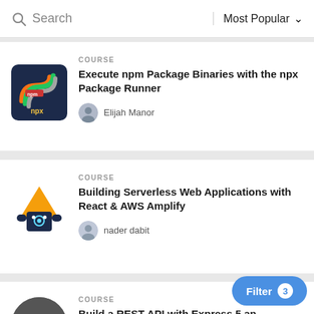Search | Most Popular
COURSE
Execute npm Package Binaries with the npx Package Runner
Elijah Manor
COURSE
Building Serverless Web Applications with React & AWS Amplify
nader dabit
COURSE
Build a REST API with Express 5 an
Jamund Ferguson
Filter 3